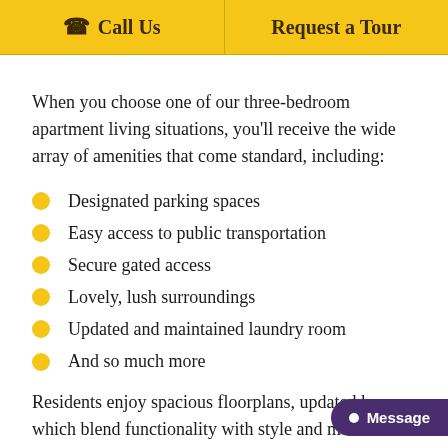Call Us | Request a Tour
When you choose one of our three-bedroom apartment living situations, you'll receive the wide array of amenities that come standard, including:
Designated parking spaces
Easy access to public transportation
Secure gated access
Lovely, lush surroundings
Updated and maintained laundry room
And so much more
Residents enjoy spacious floorplans, updated which blend functionality with style and modern and